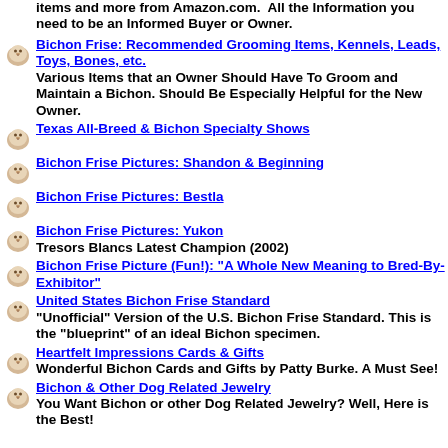items and more from Amazon.com. All the Information you need to be an Informed Buyer or Owner.
Bichon Frise: Recommended Grooming Items, Kennels, Leads, Toys, Bones, etc.
Various Items that an Owner Should Have To Groom and Maintain a Bichon. Should Be Especially Helpful for the New Owner.
Texas All-Breed & Bichon Specialty Shows
Bichon Frise Pictures: Shandon & Beginning
Bichon Frise Pictures: Bestla
Bichon Frise Pictures: Yukon
Tresors Blancs Latest Champion (2002)
Bichon Frise Picture (Fun!): "A Whole New Meaning to Bred-By-Exhibitor"
United States Bichon Frise Standard
"Unofficial" Version of the U.S. Bichon Frise Standard. This is the "blueprint" of an ideal Bichon specimen.
Heartfelt Impressions Cards & Gifts
Wonderful Bichon Cards and Gifts by Patty Burke. A Must See!
Bichon & Other Dog Related Jewelry
You Want Bichon or other Dog Related Jewelry? Well, Here is the Best!